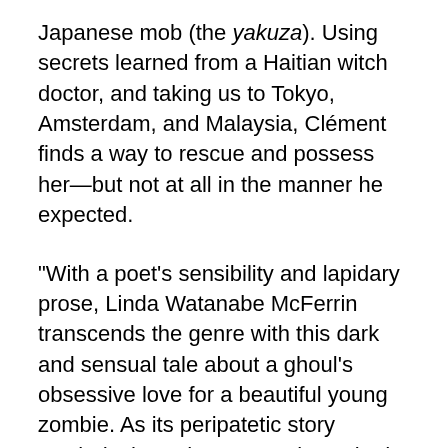Japanese mob (the yakuza). Using secrets learned from a Haitian witch doctor, and taking us to Tokyo, Amsterdam, and Malaysia, Clément finds a way to rescue and possess her—but not at all in the manner he expected.
"With a poet's sensibility and lapidary prose, Linda Watanabe McFerrin transcends the genre with this dark and sensual tale about a ghoul's obsessive love for a beautiful young zombie. As its peripatetic story unwinds through gorgeously evoked locations from Tokyo to Haiti to Amsterdam to Kuala Lumpur, Dead Love tempts us down into its particular underworld of supernatural corpse-eaters, Haitian bokors, and Japanese yakuza, and seduces us with its dazzling, at times hallucinatory visions and its